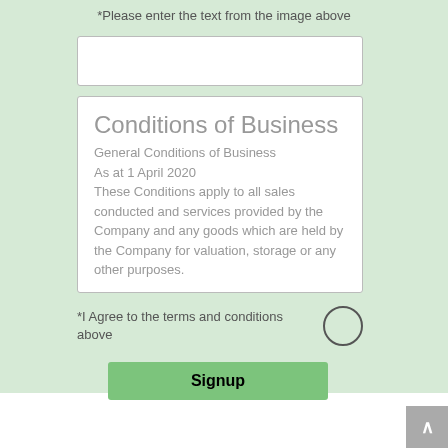*Please enter the text from the image above
Conditions of Business
General Conditions of Business
As at 1 April 2020
These Conditions apply to all sales conducted and services provided by the Company and any goods which are held by the Company for valuation, storage or any other purposes.
*I Agree to the terms and conditions above
Signup